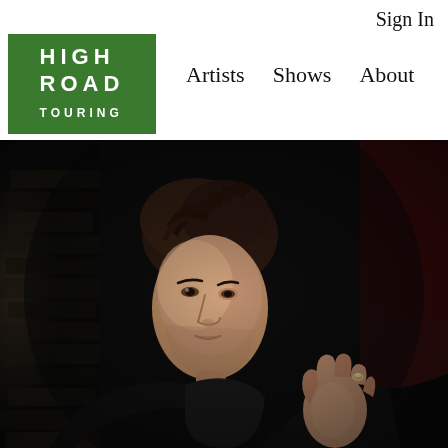Sign In
[Figure (logo): High Road Touring logo — green rectangle with white bold text reading HIGH ROAD TOURING]
Artists  Shows  About
[Figure (photo): Portrait photograph of a person with short dark hair wearing a black jacket, looking to the left with one hand raised, dark moody background with reddish hue on the right]